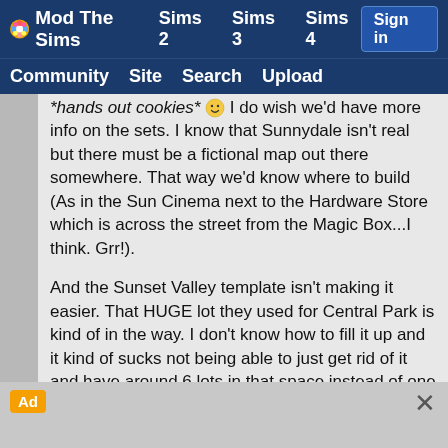Mod The Sims | Sims 2 | Sims 3 | Sims 4 | Sign in | Community | Site | Search | Upload
*hands out cookies* 🙂 I do wish we'd have more info on the sets. I know that Sunnydale isn't real but there must be a fictional map out there somewhere. That way we'd know where to build (As in the Sun Cinema next to the Hardware Store which is across the street from the Magic Box...I think. Grr!).
And the Sunset Valley template isn't making it easier. That HUGE lot they used for Central Park is kind of in the way. I don't know how to fill it up and it kind of sucks not being able to just get rid of it and have around 6 lots in that space instead of one big one.
I'm still hunting for a Sunnydale map so if anyone finds one please post the link to it here. I will do the same if I come across it first. It's like we're on patrol only it's Google not Sunnydale Cemetery. 🙂
Ad ×